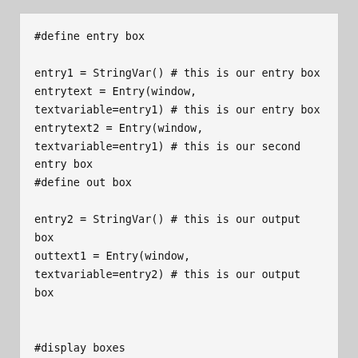#define entry box

entry1 = StringVar() # this is our entry box
entrytext = Entry(window,
textvariable=entry1) # this is our entry box
entrytext2 = Entry(window,
textvariable=entry1) # this is our second
entry box
#define out box

entry2 = StringVar() # this is our output
box
outtext1 = Entry(window,
textvariable=entry2) # this is our output
box


#display boxes
entrytext.grid(row = 3, column = 2,)
#display entry box
entrytext2.grid(row = 3, column = 3,)
#display entry box
outtext1.grid(row = 3, column = 4,) #display
output box


window.mainloop()